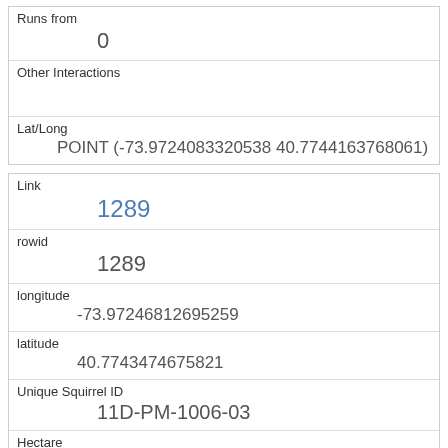| Runs from | 0 |
| Other Interactions |  |
| Lat/Long | POINT (-73.9724083320538 40.7744163768061) |
| Link | 1289 |
| rowid | 1289 |
| longitude | -73.97246812695259 |
| latitude | 40.7743474675821 |
| Unique Squirrel ID | 11D-PM-1006-03 |
| Hectare | 11D |
| Shift | PM |